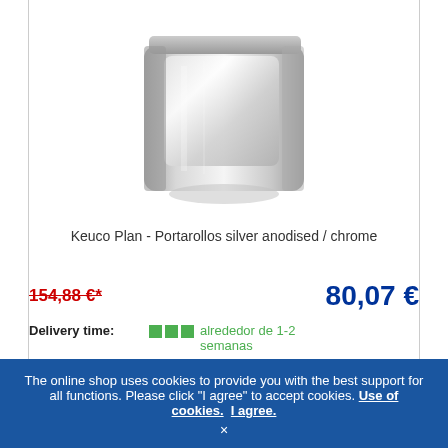[Figure (photo): Chrome/silver toilet paper holder with lid - Keuco Plan product photo]
Keuco Plan - Portarollos silver anodised / chrome
154,88 €*
80,07 €
Delivery time: alrededor de 1-2 semanas
Article_no: 14960170000
The online shop uses cookies to provide you with the best support for all functions. Please click "I agree" to accept cookies. Use of cookies. I agree. ×